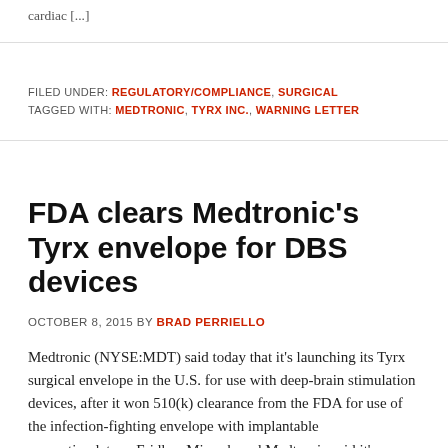cardiac [...]
FILED UNDER: REGULATORY/COMPLIANCE, SURGICAL
TAGGED WITH: MEDTRONIC, TYRX INC., WARNING LETTER
FDA clears Medtronic's Tyrx envelope for DBS devices
OCTOBER 8, 2015 BY BRAD PERRIELLO
Medtronic (NYSE:MDT) said today that it's launching its Tyrx surgical envelope in the U.S. for use with deep-brain stimulation devices, after it won 510(k) clearance from the FDA for use of the infection-fighting envelope with implantable neurostimulators. Fridley, Minn.-based Medtronic said it's planning to make the Tyrx device, acquired for $160 million in